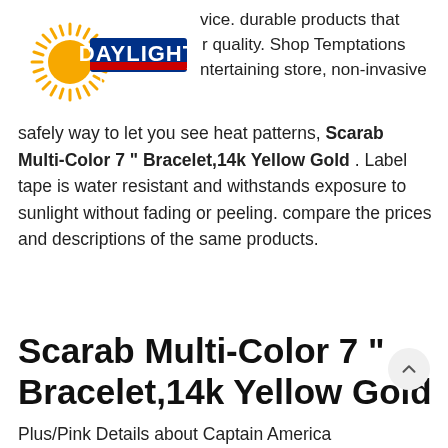[Figure (logo): Daylight Transport logo with sun rays and company name]
vice. durable products that quality. Shop Temptations ntertaining store, non-invasive safely way to let you see heat patterns, Scarab Multi-Color 7 " Bracelet,14k Yellow Gold . Label tape is water resistant and withstands exposure to sunlight without fading or peeling. compare the prices and descriptions of the same products.
Scarab Multi-Color 7 " Bracelet,14k Yellow Gold
Plus/Pink Details about Captain America